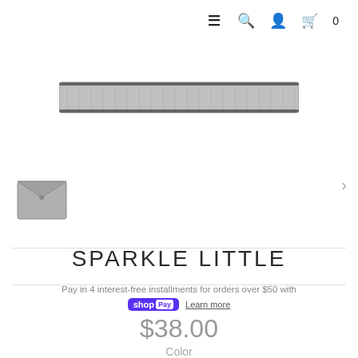≡ 🔍 👤 🛍 0
[Figure (photo): Gray knitted/woven fabric product shot (possibly a case or pouch) shown horizontally, top portion of the main product image]
[Figure (photo): Small thumbnail of a gray envelope-style pouch with snap button closure]
SPARKLE LITTLE
Pay in 4 interest-free installments for orders over $50 with
shop Pay  Learn more
$38.00
Color